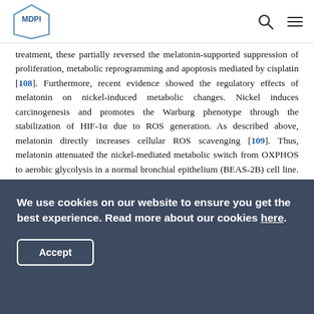MDPI logo with search and menu icons
treatment, these partially reversed the melatonin-supported suppression of proliferation, metabolic reprogramming and apoptosis mediated by cisplatin [108]. Furthermore, recent evidence showed the regulatory effects of melatonin on nickel-induced metabolic changes. Nickel induces carcinogenesis and promotes the Warburg phenotype through the stabilization of HIF-1α due to ROS generation. As described above, melatonin directly increases cellular ROS scavenging [109]. Thus, melatonin attenuated the nickel-mediated metabolic switch from OXPHOS to aerobic glycolysis in a normal bronchial epithelium (BEAS-2B) cell line. Further analysis revealed that melatonin suppressed molecular components of aerobic glycolysis, such
We use cookies on our website to ensure you get the best experience. Read more about our cookies here.